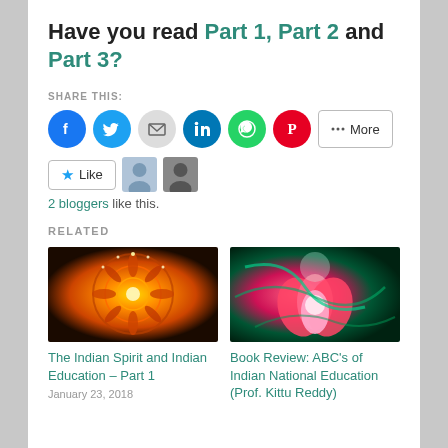Have you read Part 1, Part 2 and Part 3?
SHARE THIS:
[Figure (infographic): Social share buttons: Facebook (blue circle), Twitter (light blue circle), Email (grey circle), LinkedIn (dark blue circle), WhatsApp (green circle), Pinterest (red circle), and a More button]
[Figure (infographic): Like button with star icon, followed by two blogger avatar thumbnails]
2 bloggers like this.
RELATED
[Figure (photo): Decorative Indian rangoli pattern with orange and gold colors and lights]
The Indian Spirit and Indian Education – Part 1
January 23, 2018
[Figure (photo): Colorful abstract painting with lotus flower and swirling patterns in green, red, and pink]
Book Review: ABC's of Indian National Education (Prof. Kittu Reddy)